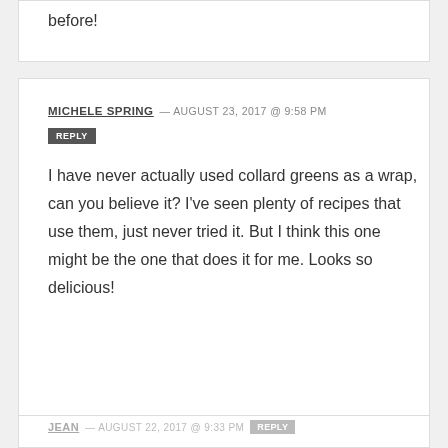before!
MICHELE SPRING — AUGUST 23, 2017 @ 9:58 PM
REPLY
I have never actually used collard greens as a wrap, can you believe it? I've seen plenty of recipes that use them, just never tried it. But I think this one might be the one that does it for me. Looks so delicious!
JEAN — AUGUST 22, 2017 @ 9:33 PM REPLY